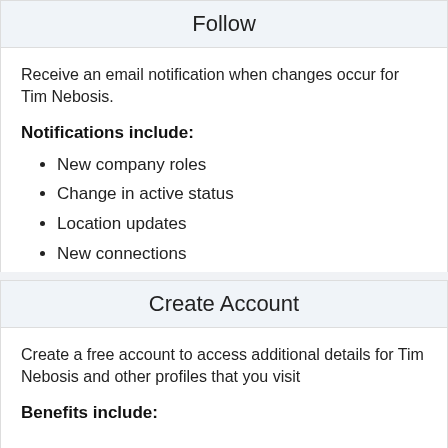Follow
Receive an email notification when changes occur for Tim Nebosis.
Notifications include:
New company roles
Change in active status
Location updates
New connections
[Figure (other): Orange Follow button with RSS icon]
Create Account
Create a free account to access additional details for Tim Nebosis and other profiles that you visit
Benefits include: